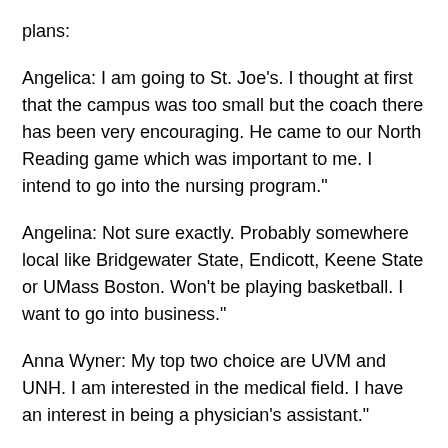plans:
Angelica: I am going to St. Joe's. I thought at first that the campus was too small but the coach there has been very encouraging. He came to our North Reading game which was important to me. I intend to go into the nursing program."
Angelina: Not sure exactly. Probably somewhere local like Bridgewater State, Endicott, Keene State or UMass Boston. Won't be playing basketball. I want to go into business."
Anna Wyner: My top two choice are UVM and UNH. I am interested in the medical field. I have an interest in being a physician's assistant."
Hannah Lambert: "I want to study nursing. I am looking at